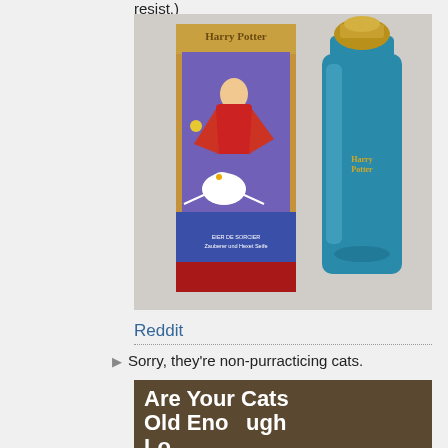resist.)
[Figure (photo): Harry Potter cologne/perfume product — a box showing Harry Potter on a broomstick with Hedwig the owl, next to a teal/blue glass bottle with gold cap labeled Harry Potter]
Reddit
Sorry, they're non-purracticing cats.
[Figure (photo): Partial view of a brown shirt/garment with large bold white text reading 'Are Your Old Cats Ol...' (text is cut off at bottom)]